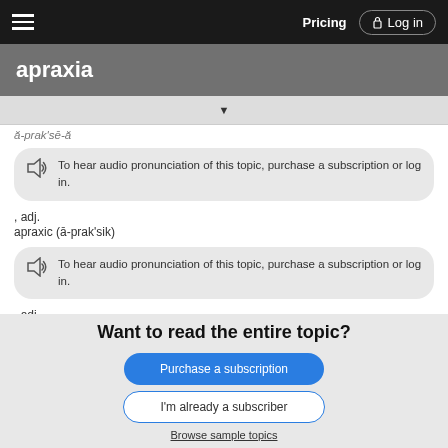Pricing  Log in
apraxia
To hear audio pronunciation of this topic, purchase a subscription or log in.
, adj.
apraxic (ā-prak'sik)
To hear audio pronunciation of this topic, purchase a subscription or log in.
, adj.
Want to read the entire topic?
Purchase a subscription
I'm already a subscriber
Browse sample topics